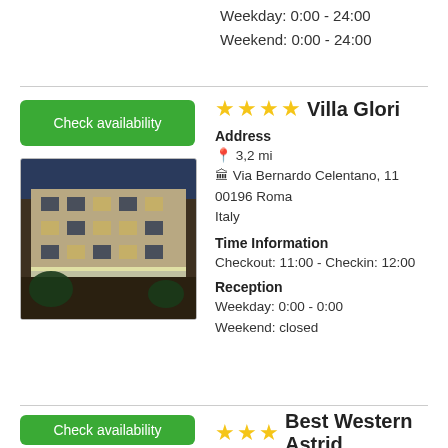Weekday: 0:00 - 24:00
Weekend: 0:00 - 24:00
Check availability
[Figure (photo): Exterior of Villa Glori hotel at dusk, a multi-story European building with illuminated facade]
★★★★ Villa Glori
Address
📍 3,2 mi
🏢 Via Bernardo Celentano, 11
00196 Roma
Italy
Time Information
Checkout: 11:00 - Checkin: 12:00
Reception
Weekday: 0:00 - 0:00
Weekend: closed
Check availability
★★★ Best Western Astrid